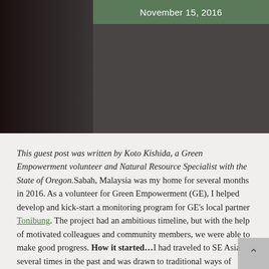[Figure (photo): Dark photograph showing an outdoor scene; the left portion is very dark brown/black, the right portion shows a dark grey scene with a green header bar. Date 'November 15, 2016' overlaid in white text on the green bar at top right.]
November 15, 2016
This guest post was written by Koto Kishida, a Green Empowerment volunteer and Natural Resource Specialist with the State of Oregon.Sabah, Malaysia was my home for several months in 2016. As a volunteer for Green Empowerment (GE), I helped develop and kick-start a monitoring program for GE’s local partner Tonibung. The project had an ambitious timeline, but with the help of motivated colleagues and community members, we were able to make good progress. How it started…I had traveled to SE Asia several times in the past and was drawn to traditional ways of living. During my travels I saw rapid development and